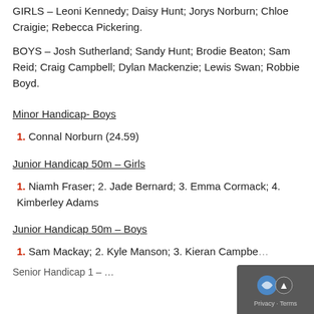GIRLS – Leoni Kennedy; Daisy Hunt; Jorys Norburn; Chloe Craigie; Rebecca Pickering.
BOYS – Josh Sutherland; Sandy Hunt; Brodie Beaton; Sam Reid; Craig Campbell; Dylan Mackenzie; Lewis Swan; Robbie Boyd.
Minor Handicap- Boys
1. Connal Norburn (24.59)
Junior Handicap 50m – Girls
1. Niamh Fraser; 2. Jade Bernard; 3. Emma Cormack; 4. Kimberley Adams
Junior Handicap 50m – Boys
1. Sam Mackay; 2. Kyle Manson; 3. Kieran Campbell